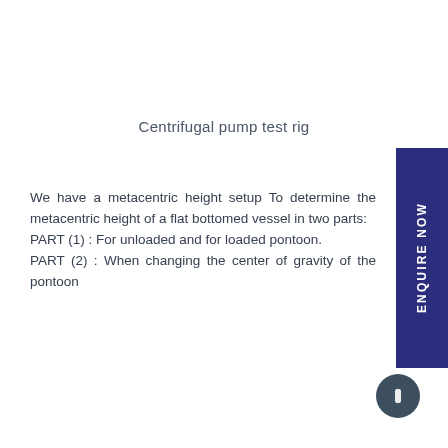Centrifugal pump test rig
We have a metacentric height setup To determine the metacentric height of a flat bottomed vessel in two parts:
PART (1) : For unloaded and for loaded pontoon.
PART (2) : When changing the center of gravity of the pontoon